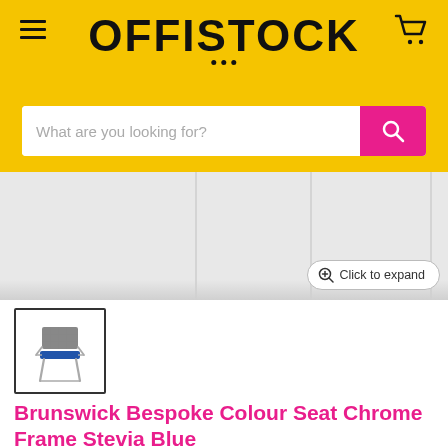OFFISTOCK
What are you looking for?
[Figure (photo): Product photo area showing a partial view of a chair against a light background, with vertical column-like shapes visible]
[Figure (photo): Thumbnail image of a Brunswick Bespoke Colour Seat Chrome Frame Stevia Blue chair — a chrome-framed chair with blue seat and mesh back]
Brunswick Bespoke Colour Seat Chrome Frame Stevia Blue
by Offistock
£112.80